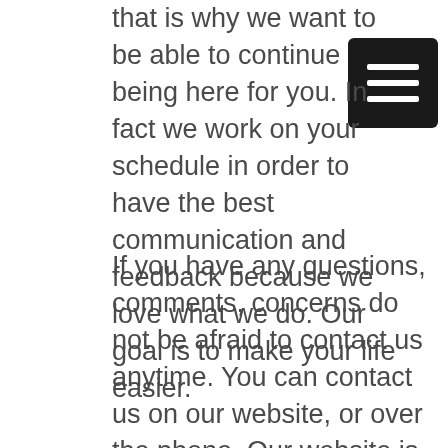that is why we want to be able to continue being here for you. In fact we work on your schedule in order to have the best communication and feedback because we love what we do. Our goal is to make your life easier.
[Figure (other): Hamburger menu icon — black square with three horizontal white lines]
If you have any questions, comments, concerns do not be afraid to contact us anytime. You can contact us on our website, or over the phone. Our website is www.briantarmstrongconstructioninc.com. Of course if you'd rather contact us by phone, our business telephone number is 251-747-3801. We look forward to working with you and we look forward to being able to give you the best quality of care, and respect.